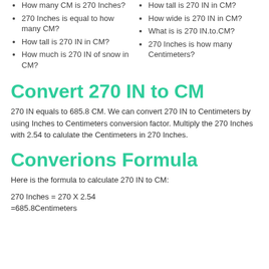How many CM is 270 Inches?
270 Inches is equal to how many CM?
How tall is 270 IN in CM?
How much is 270 IN of snow in CM?
How tall is 270 IN in CM?
How wide is 270 IN in CM?
What is is 270 IN.to.CM?
270 Inches is how many Centimeters?
Convert 270 IN to CM
270 IN equals to 685.8 CM. We can convert 270 IN to Centimeters by using Inches to Centimeters conversion factor. Multiply the 270 Inches with 2.54 to calulate the Centimeters in 270 Inches.
Converions Formula
Here is the formula to calculate 270 IN to CM: